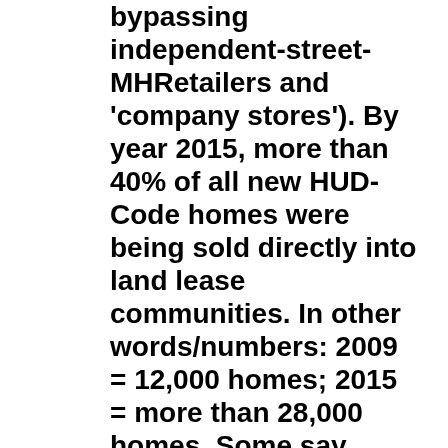bypassing independent-street-MHRetailers and 'company stores'). By year 2015, more than 40% of all new HUD-Code homes were being sold directly into land lease communities. In other words/numbers: 2009 = 12,000 homes; 2015 = more than 28,000 homes. Some say 16,000 more Community Series Homes, upping the 2015 total to 70,544!